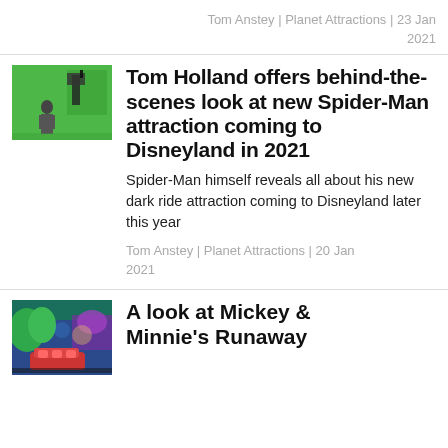Tom Anstey | Planet Attractions | 23 Jan 2021
[Figure (photo): Green screen filming setup with a person standing in front of a bright green background with camera equipment visible]
Tom Holland offers behind-the-scenes look at new Spider-Man attraction coming to Disneyland in 2021
Spider-Man himself reveals all about his new dark ride attraction coming to Disneyland later this year
Tom Anstey | Planet Attractions | 20 Jan 2021
[Figure (photo): Colorful theme park ride interior with vivid purple and green lighting, showing a ride vehicle]
A look at Mickey & Minnie's Runaway